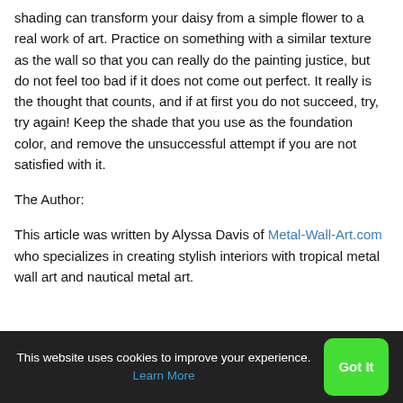shading can transform your daisy from a simple flower to a real work of art. Practice on something with a similar texture as the wall so that you can really do the painting justice, but do not feel too bad if it does not come out perfect. It really is the thought that counts, and if at first you do not succeed, try, try again! Keep the shade that you use as the foundation color, and remove the unsuccessful attempt if you are not satisfied with it.
The Author:
This article was written by Alyssa Davis of Metal-Wall-Art.com who specializes in creating stylish interiors with tropical metal wall art and nautical metal art.
This website uses cookies to improve your experience. Learn More